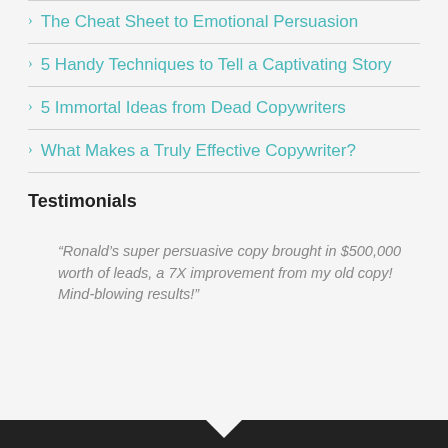The Cheat Sheet to Emotional Persuasion
5 Handy Techniques to Tell a Captivating Story
5 Immortal Ideas from Dead Copywriters
What Makes a Truly Effective Copywriter?
Testimonials
“Ronald’s super persuasive copy brought in $500,000 worth of leads, a 7X improvement from my old copy! Mind-blowing results!”